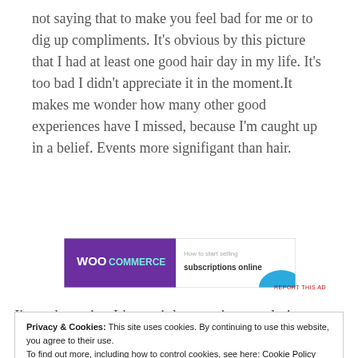not saying that to make you feel bad for me or to dig up compliments. It's obvious by this picture that I had at least one good hair day in my life. It's too bad I didn't appreciate it in the moment.It makes me wonder how many other good experiences have I missed, because I'm caught up in a belief. Events more signifigant than hair.
[Figure (other): WooCommerce advertisement banner showing logo and text 'subscriptions online' with teal arrow graphic]
I'm a therapist. It's my job to assist people in
Privacy & Cookies: This site uses cookies. By continuing to use this website, you agree to their use.
To find out more, including how to control cookies, see here: Cookie Policy
Close and accept
belief about my hair was based on the "fact" that I have